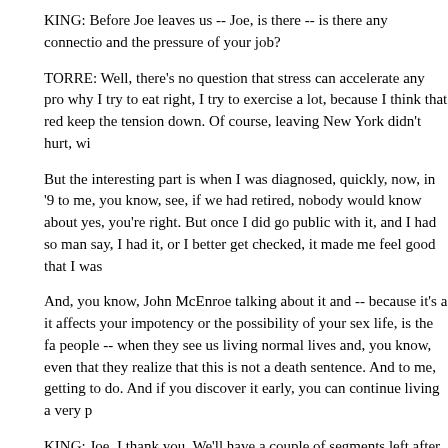KING: Before Joe leaves us -- Joe, is there -- is there any connection and the pressure of your job?
TORRE: Well, there's no question that stress can accelerate any pro why I try to eat right, I try to exercise a lot, because I think that red keep the tension down. Of course, leaving New York didn't hurt, wi
But the interesting part is when I was diagnosed, quickly, now, in '9 to me, you know, see, if we had retired, nobody would know about yes, you're right. But once I did go public with it, and I had so man say, I had it, or I better get checked, it made me feel good that I was
And, you know, John McEnroe talking about it and -- because it's a it affects your impotency or the possibility of your sex life, is the fa people -- when they see us living normal lives and, you know, even that they realize that this is not a death sentence. And to me, getting to do. And if you discover it early, you can continue living a very p
KING: Joe, I thank you. We'll have a couple of segments left after y game to play, but we did want to remind you that the Think Cure ra and it will run right through Saturday night. You go to Dodgers.com information.
Joe, thanks a bunch. We'll see you at the ballpark.